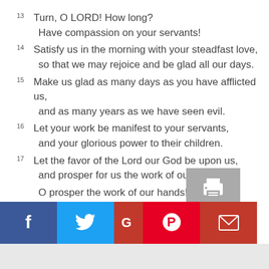13 Turn, O LORD! How long?
    Have compassion on your servants!
14 Satisfy us in the morning with your steadfast love,
    so that we may rejoice and be glad all our days.
15 Make us glad as many days as you have afflicted us,
    and as many years as we have seen evil.
16 Let your work be manifest to your servants,
    and your glorious power to their children.
17 Let the favor of the Lord our God be upon us,
    and prosper for us the work of our hands —
    O prosper the work of our hands!
[Figure (infographic): Social sharing bar with Facebook, Twitter, Google+, Pinterest, and Email buttons, plus a print button above]